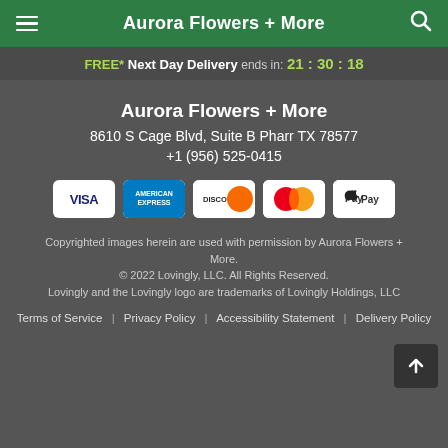Aurora Flowers + More
FREE* Next Day Delivery ends in: 21:30:18
Aurora Flowers + More
8610 S Cage Blvd, Suite B Pharr TX 78577
+1 (956) 525-0415
[Figure (other): Payment method icons: Visa, American Express, Discover, Mastercard, Apple Pay]
Copyrighted images herein are used with permission by Aurora Flowers + More.
© 2022 Lovingly, LLC. All Rights Reserved.
Lovingly and the Lovingly logo are trademarks of Lovingly Holdings, LLC
Terms of Service | Privacy Policy | Accessibility Statement | Delivery Policy